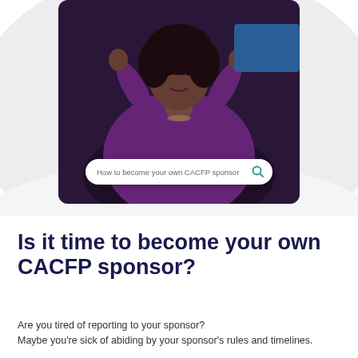[Figure (photo): A woman in a purple top sitting at a desk looking stressed or worried, with hands raised near her head. A laptop is visible on the desk. Over the photo, a search bar overlay reads: 'How to become your own CACFP sponsor' with a search/magnify icon.]
Is it time to become your own CACFP sponsor?
Are you tired of reporting to your sponsor? Maybe you're sick of abiding by your sponsor's rules and timelines.